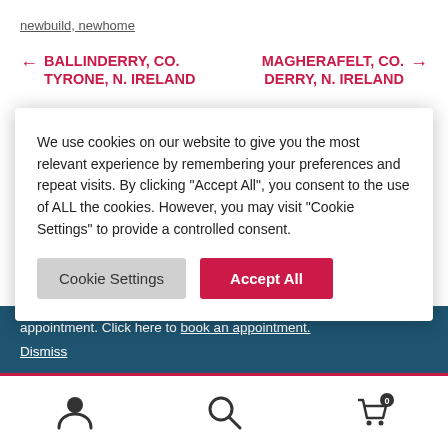newbuild, newhome
← BALLINDERRY, CO. TYRONE, N. IRELAND
MAGHERAFELT, CO. DERRY, N. IRELAND →
We use cookies on our website to give you the most relevant experience by remembering your preferences and repeat visits. By clicking "Accept All", you consent to the use of ALL the cookies. However, you may visit "Cookie Settings" to provide a controlled consent.
Cookie Settings | Accept All
appointment. Click here to book an appointment. Dismiss